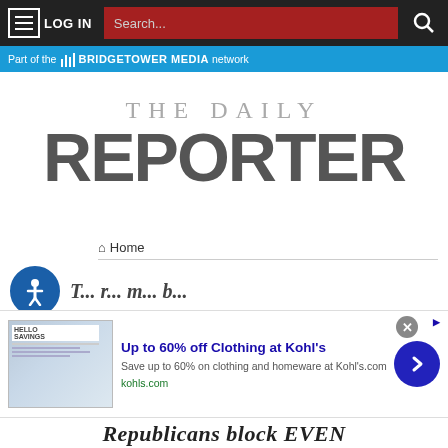LOG IN | Search...
Part of the BRIDGETOWER MEDIA network
THE DAILY REPORTER
Home
[Figure (other): Accessibility icon — blue circle with person silhouette]
[Figure (screenshot): Advertisement: Up to 60% off Clothing at Kohl's — Save up to 60% on clothing and homeware at Kohl's.com — kohls.com]
Republicans block EVEN
We use cookies on our website to give you the most relevant experience by remembering your preferences and repeat visits. By clicking “Accept”, you consent to the use of ALL the cookies.
Cookie settings
ACCEPT